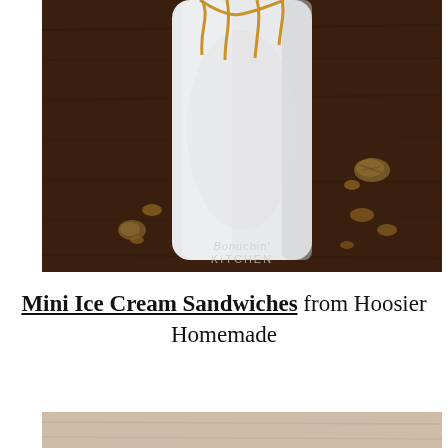[Figure (photo): A close-up photo of a tall glass jar containing a white milkshake or ice cream drink, with golden caramel drizzled down the sides. The jar sits on a dark wooden surface with scattered caramel drips and pecans around it. Watermark reads 'Bonzichin Kitchen' at the bottom center.]
Mini Ice Cream Sandwiches from Hoosier Homemade
[Figure (photo): Partial view of a second photo, showing the top edge of another food image below the title text.]